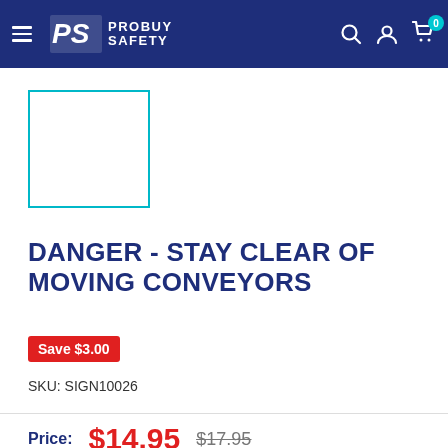ProBuy Safety — navigation header with hamburger menu, logo, search, account, cart (0)
[Figure (photo): Product image placeholder — white box with teal/cyan border]
DANGER - STAY CLEAR OF MOVING CONVEYORS
Save $3.00
SKU: SIGN10026
Price: $14.95  $17.95